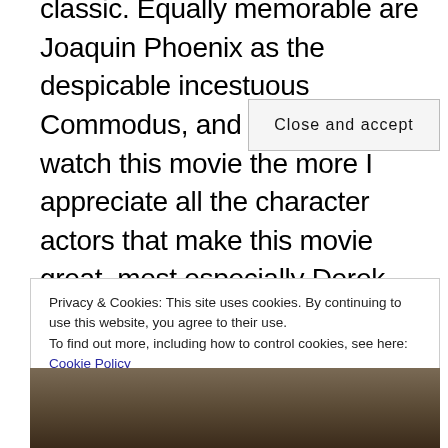classic. Equally memorable are Joaquin Phoenix as the despicable incestuous Commodus, and the more I watch this movie the more I appreciate all the character actors that make this movie great, most especially Derek Jacobi with his theatrical line delivery. It's not as popular as the others, but I pick this line as one of my favorite movie quotes of all time.
Privacy & Cookies: This site uses cookies. By continuing to use this website, you agree to their use.
To find out more, including how to control cookies, see here: Cookie Policy
Close and accept
[Figure (photo): Partial view of a photo strip at the bottom of the page, showing people, mostly cropped out of view.]